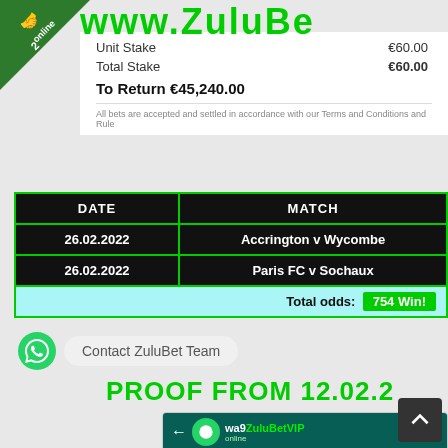www.ZuluBe
| Unit Stake | Total Stake | To Return |
| --- | --- | --- |
| €60.00 | €60.00 | €45,240.00 |
All bets are accepted and settled in accordance with our Terms and Conditions and Rules
| DATE | MATCH |
| --- | --- |
| 26.02.2022 | Accrington v Wycombe |
| 26.02.2022 | Paris FC v Sochaux |
| Total odds: | 754 Win! |
[Figure (screenshot): WhatsApp contact button: Contact ZuluBet Team]
PROOF FROM 12.02.2
[Figure (screenshot): WhatsApp chat showing messages: I made the payment; Please check on your Skrill account; Let me know if there are any issues; Hi sir. Hope you are do...; I just checked the account; Payment is OK]